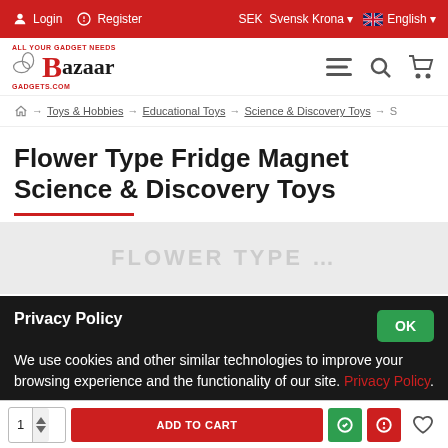Login | Register | SEK Svensk Krona | English
[Figure (logo): Bazaar Gadgets logo with red B letter and tagline ALL YOUR GADGET NEEDS BAZAARGADGETS.COM]
Home → Toys & Hobbies → Educational Toys → Science & Discovery Toys → S
Flower Type Fridge Magnet Science & Discovery Toys
[Figure (photo): Product image placeholder for Flower Type Fridge Magnet]
Privacy Policy
We use cookies and other similar technologies to improve your browsing experience and the functionality of our site. Privacy Policy.
1 ADD TO CART